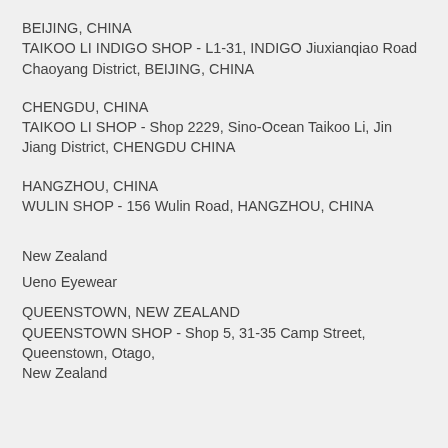BEIJING, CHINA
TAIKOO LI INDIGO SHOP - L1-31, INDIGO Jiuxianqiao Road Chaoyang District, BEIJING, CHINA
CHENGDU, CHINA
TAIKOO LI SHOP - Shop 2229, Sino-Ocean Taikoo Li, Jin Jiang District, CHENGDU CHINA
HANGZHOU, CHINA
WULIN SHOP - 156 Wulin Road, HANGZHOU, CHINA
New Zealand
Ueno Eyewear
QUEENSTOWN, NEW ZEALAND
QUEENSTOWN SHOP - Shop 5, 31-35 Camp Street, Queenstown, Otago, New Zealand